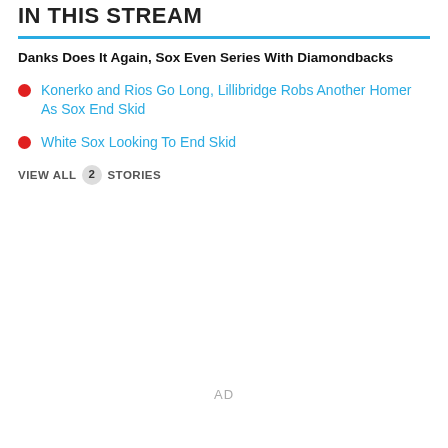IN THIS STREAM
Danks Does It Again, Sox Even Series With Diamondbacks
Konerko and Rios Go Long, Lillibridge Robs Another Homer As Sox End Skid
White Sox Looking To End Skid
VIEW ALL 2 STORIES
AD